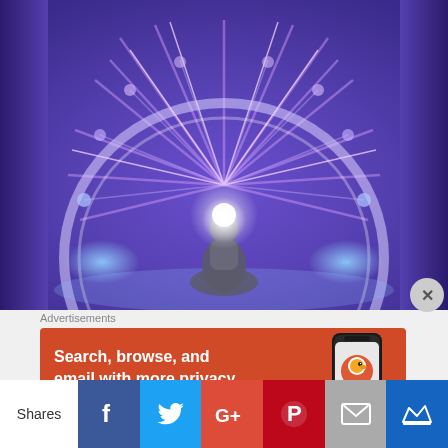[Figure (illustration): A meditating human silhouette with glowing white light rays emanating from the head and body, forming a semicircular arc, on a purple/blue gradient background. Spiritual or energy meditation illustration.]
Advertisements
[Figure (screenshot): Advertisement banner for DuckDuckGo privacy browser. Orange/red background with white bold text: 'Search, browse, and email with more privacy.' alongside an image of a smartphone showing the DuckDuckGo app icon.]
Shares
[Figure (infographic): Social sharing bar with buttons: Facebook (blue, f icon), Twitter (light blue, bird icon), Google+ (red, G+ icon), Pinterest (red, P icon), Email (gray, envelope icon), Crown (dark blue, crown icon).]